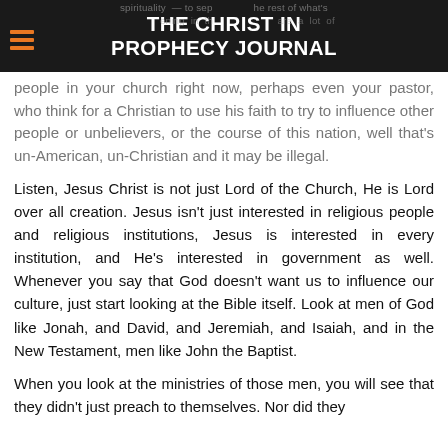THE CHRIST IN PROPHECY JOURNAL
spirituality — to sep... the rest of what's happening in th... are a lot of people in your church right now, perhaps even your pastor, who think for a Christian to use his faith to try to influence other people or unbelievers, or the course of this nation, well that's un-American, un-Christian and it may be illegal.
Listen, Jesus Christ is not just Lord of the Church, He is Lord over all creation. Jesus isn't just interested in religious people and religious institutions, Jesus is interested in every institution, and He's interested in government as well. Whenever you say that God doesn't want us to influence our culture, just start looking at the Bible itself. Look at men of God like Jonah, and David, and Jeremiah, and Isaiah, and in the New Testament, men like John the Baptist.
When you look at the ministries of those men, you will see that they didn't just preach to themselves. Nor did they...